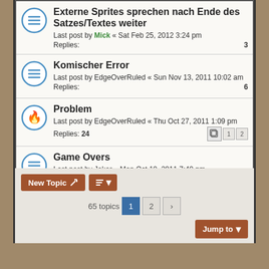Externe Sprites sprechen nach Ende des Satzes/Textes weiter — Last post by Mick « Sat Feb 25, 2012 3:24 pm — Replies: 3
Komischer Error — Last post by EdgeOverRuled « Sun Nov 13, 2011 10:02 am — Replies: 6
Problem — Last post by EdgeOverRuled « Thu Oct 27, 2011 1:09 pm — Replies: 24
Game Overs — Last post by Joker « Mon Oct 10, 2011 7:40 pm — Replies: 9
Bindestrich-Problem — Last post by Joker « Sat Sep 24, 2011 8:48 am — Replies: 3
New Topic | 65 topics | 1 | 2 | > | Jump to